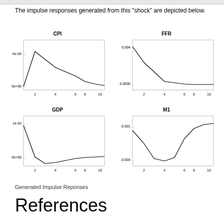The impulse responses generated from this "shock" are depicted below.
[Figure (line-chart): Line chart showing CPI impulse response. Rises sharply to peak near period 2, then decays monotonically toward zero by period 10.]
[Figure (line-chart): Line chart showing FFR impulse response. Starts high, drops sharply to near zero by period 4, then stays flat.]
[Figure (line-chart): Line chart showing GDP impulse response. Starts near top, drops sharply to trough around period 2-3, then slowly recovers toward zero.]
[Figure (line-chart): Line chart showing M1 impulse response. Starts slightly negative, drops sharply to trough around period 4, then recovers to near zero by period 8-10.]
Generated Impulse Reponses
References